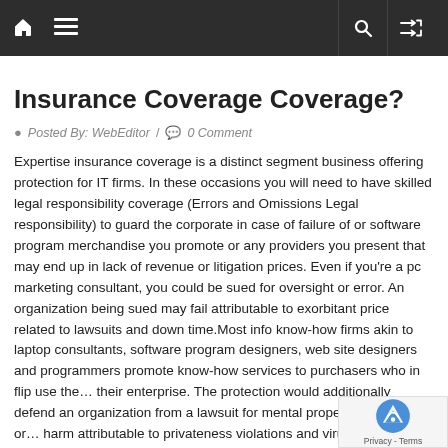Navigation bar with home, menu, search, and shuffle icons
Insurance Coverage Coverage?
Posted By: WebEditor / 0 Comment
Expertise insurance coverage is a distinct segment business offering protection for IT firms. In these occasions you will need to have skilled legal responsibility coverage (Errors and Omissions Legal responsibility) to guard the corporate in case of failure of or software program merchandise you promote or any providers you present that may end up in lack of revenue or litigation prices. Even if you’re a pc marketing consultant, you could be sued for oversight or error. An organization being sued may fail attributable to exorbitant price related to lawsuits and down time.Most info know-how firms akin to laptop consultants, software program designers, web site designers and programmers promote know-how services to purchasers who in flip use the… their enterprise. The protection would additionally defend an organization from a lawsuit for mental property violations or… harm attributable to privateness violations and virus assaults. Your